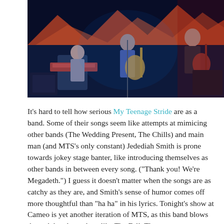[Figure (photo): Concert photo showing musicians on stage — a keyboard player on the left, a guitarist in the center holding an electric guitar, and another guitarist on the right. Stage backdrop is dark with colorful shapes. Stage has amplifiers and equipment.]
It's hard to tell how serious My Teenage Stride are as a band. Some of their songs seem like attempts at mimicing other bands (The Wedding Present, The Chills) and main man (and MTS's only constant) Jedediah Smith is prone towards jokey stage banter, like introducing themselves as other bands in between every song. ("Thank you! We're Megadeth.") I guess it doesn't matter when the songs are as catchy as they are, and Smith's sense of humor comes off more thoughtful than "ha ha" in his lyrics. Tonight's show at Cameo is yet another iteration of MTS, as this band blows through band members like The Fall. The new group are